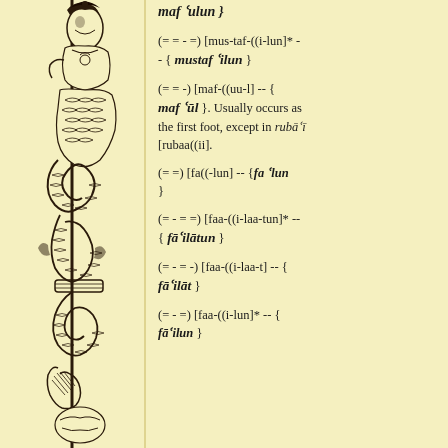[Figure (illustration): Decorative vertical illustration of an ornate figure (wayang/puppet style) holding a spear, with elaborate costume and serpentine decorations, in black ink on yellow background]
maf'ulun }
(= = - =) [mus-taf-((i-lun]* - - { mustaf'ilun }
(= = -) [maf-((uu-l] -- { maf'ul }. Usually occurs as the first foot, except in ruba'i [rubaa((ii].
(= =) [fa((-lun] -- {fa'lun }
(= - = =) [faa-((i-laa-tun]* -- { fa'ilatun }
(= - = -) [faa-((i-laa-t] -- { fa'ilat }
(= - =) [faa-((i-lun]* -- { fa'ilun }